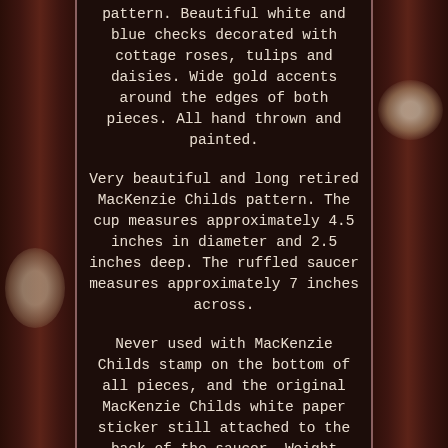pattern. Beautiful white and blue checks decorated with cottage roses, tulips and daisies. Wide gold accents around the edges of both pieces. All hand thrown and painted.
Very beautiful and long retired MacKenzie Childs pattern. The cup measures approximately 4.5 inches in diameter and 2.5 inches deep. The ruffled saucer measures approximately 7 inches across.
Never used with MacKenzie Childs stamp on the bottom of all pieces, and the original MacKenzie Childs white paper sticker still attached to the back of the saucer. Weight before packing is just under 1.5 pounds. We double box and wrap with care. If we have omitted details that are important to you, we will be happy to answer questions or